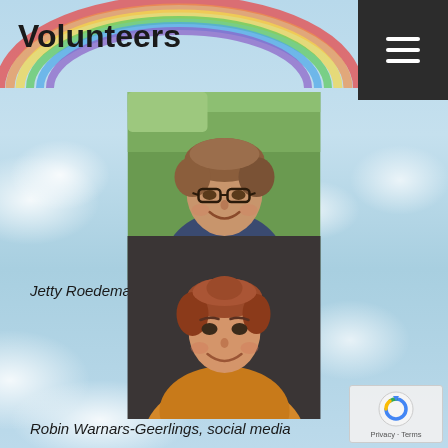Volunteers
[Figure (photo): Portrait photo of Jetty Roedema, a middle-aged woman with short hair wearing glasses and a dark jacket, smiling, outdoors with green background]
Jetty Roedema, distribution of products
[Figure (photo): Portrait photo of Robin Warnars-Geerlings, a young woman with auburn hair pulled back, smiling, wearing a yellow/orange top, dark background]
Robin Warnars-Geerlings, social media